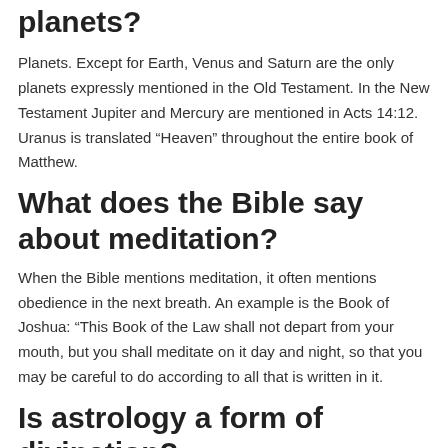planets?
Planets. Except for Earth, Venus and Saturn are the only planets expressly mentioned in the Old Testament. In the New Testament Jupiter and Mercury are mentioned in Acts 14:12. Uranus is translated “Heaven” throughout the entire book of Matthew.
What does the Bible say about meditation?
When the Bible mentions meditation, it often mentions obedience in the next breath. An example is the Book of Joshua: “This Book of the Law shall not depart from your mouth, but you shall meditate on it day and night, so that you may be careful to do according to all that is written in it.
Is astrology a form of divination?